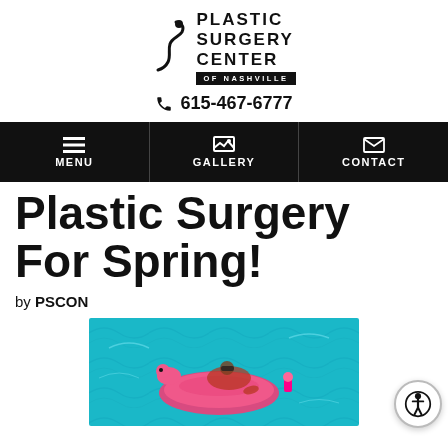[Figure (logo): Plastic Surgery Center of Nashville logo with stylized figure and text]
📞 615-467-6777
[Figure (infographic): Navigation bar with MENU, GALLERY, CONTACT options on black background]
Plastic Surgery For Spring!
by PSCON
[Figure (photo): Woman floating in a swimming pool on a pink flamingo inflatable, viewed from above, turquoise water]